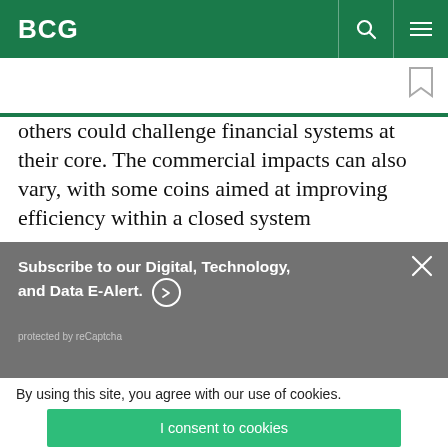BCG
others could challenge financial systems at their core. The commercial impacts can also vary, with some coins aimed at improving efficiency within a closed system
Subscribe to our Digital, Technology, and Data E-Alert. protected by reCaptcha
By using this site, you agree with our use of cookies.
I consent to cookies
Want to know more?
Read our Cookie Policy